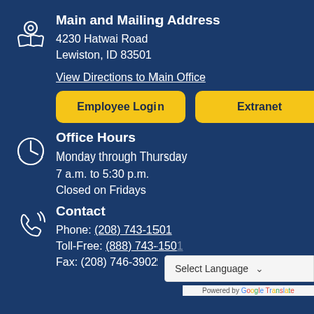Main and Mailing Address
4230 Hatwai Road
Lewiston, ID 83501
View Directions to Main Office
Employee Login
Extranet
Office Hours
Monday through Thursday
7 a.m. to 5:30 p.m.
Closed on Fridays
Contact
Phone: (208) 743-1501
Toll-Free: (888) 743-1501
Fax: (208) 746-3902